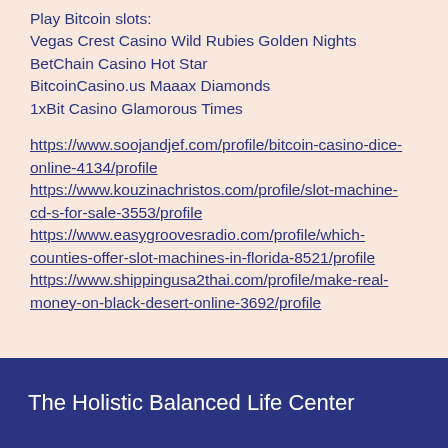Play Bitcoin slots:
Vegas Crest Casino Wild Rubies Golden Nights
BetChain Casino Hot Star
BitcoinCasino.us Maaax Diamonds
1xBit Casino Glamorous Times
https://www.soojandjef.com/profile/bitcoin-casino-dice-online-4134/profile
https://www.kouzinachristos.com/profile/slot-machine-cd-s-for-sale-3553/profile
https://www.easygroovesradio.com/profile/which-counties-offer-slot-machines-in-florida-8521/profile
https://www.shippingusa2thai.com/profile/make-real-money-on-black-desert-online-3692/profile
The Holistic Balanced Life Center